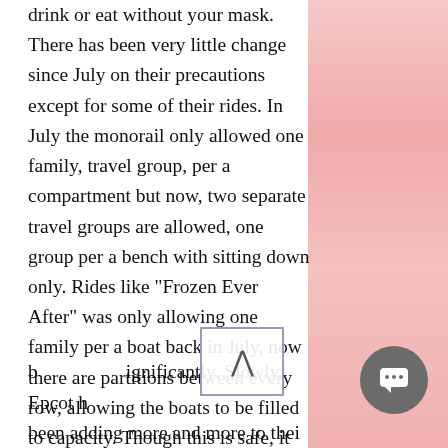drink or eat without your mask. There has been very little change since July on their precautions except for some of their rides. In July the monorail only allowed one family, travel group, per a compartment but now, two separate travel groups are allowed, one group per a bench with sitting down only. Rides like "Frozen Ever After" was only allowing one family per a boat back in July, now there are partitions between every row, allowing the boats to be filled to capacity. Though this is safe, it really degrades the ride a bit so keep that in mind before waiting a long time to ride. The food and wine festival in July of 2020 was great but was scaled b ignificantly. Slowly, Epcot ha been adding more and more to thei